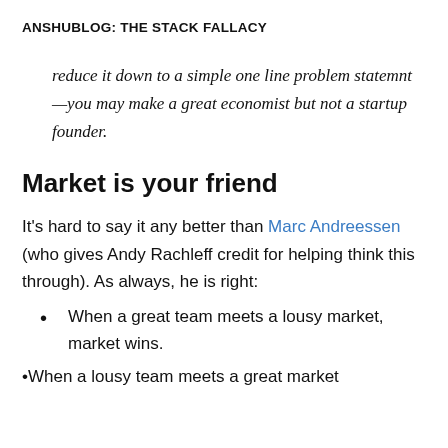ANSHUBLOG: THE STACK FALLACY
reduce it down to a simple one line problem statemnt—you may make a great economist but not a startup founder.
Market is your friend
It's hard to say it any better than Marc Andreessen (who gives Andy Rachleff credit for helping think this through). As always, he is right:
When a great team meets a lousy market, market wins.
When a lousy team meets a great market...